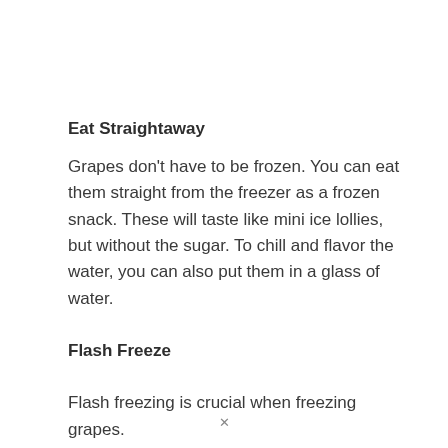Eat Straightaway
Grapes don’t have to be frozen. You can eat them straight from the freezer as a frozen snack. These will taste like mini ice lollies, but without the sugar. To chill and flavor the water, you can also put them in a glass of water.
Flash Freeze
Flash freezing is crucial when freezing grapes.